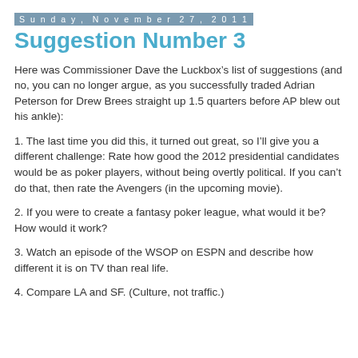Sunday, November 27, 2011
Suggestion Number 3
Here was Commissioner Dave the Luckbox’s list of suggestions (and no, you can no longer argue, as you successfully traded Adrian Peterson for Drew Brees straight up 1.5 quarters before AP blew out his ankle):
1. The last time you did this, it turned out great, so I’ll give you a different challenge: Rate how good the 2012 presidential candidates would be as poker players, without being overtly political. If you can’t do that, then rate the Avengers (in the upcoming movie).
2. If you were to create a fantasy poker league, what would it be? How would it work?
3. Watch an episode of the WSOP on ESPN and describe how different it is on TV than real life.
4. Compare LA and SF. (Culture, not traffic.)